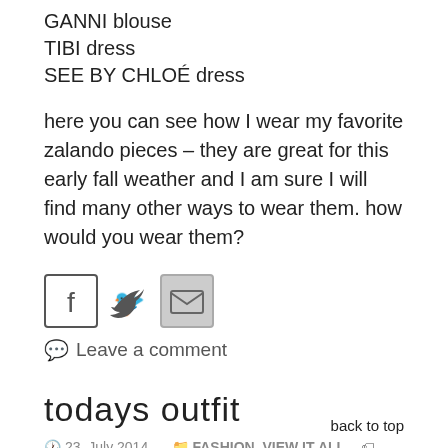GANNI blouse
TIBI dress
SEE BY CHLOÉ dress
here you can see how I wear my favorite zalando pieces – they are great for this early fall weather and I am sure I will find many other ways to wear them. how would you wear them?
[Figure (other): Social media sharing icons: Facebook, Twitter, Email]
Leave a comment
todays outfit
23. July 2014   FASHION, VIEW IT ALL   black and white, collage, crop top, diy cut, fashion, fashion blogger, fruit of the loom, isawsomethingnice, isawsomethingnice.ch, isawsomethingnice.tumblr.com, leazeitman, looks, ootd, polyvore, swiss fashion blog, swiss
back to top